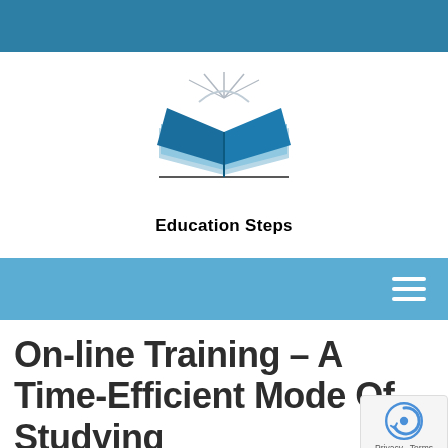[Figure (logo): Education Steps logo: open book with blue pages and light rays, with text 'Education Steps' below]
[Figure (screenshot): Blue navigation bar with hamburger menu icon on the right]
On-line Training – A Time-Efficient Mode Of Studying